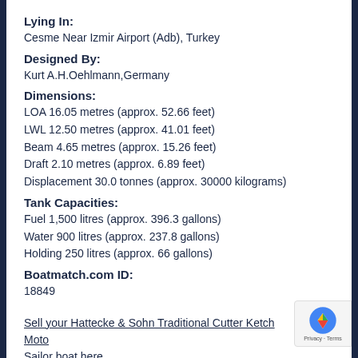Lying In:
Cesme Near Izmir Airport (Adb), Turkey
Designed By:
Kurt A.H.Oehlmann,Germany
Dimensions:
LOA 16.05 metres (approx. 52.66 feet)
LWL 12.50 metres (approx. 41.01 feet)
Beam 4.65 metres (approx. 15.26 feet)
Draft 2.10 metres (approx. 6.89 feet)
Displacement 30.0 tonnes (approx. 30000 kilograms)
Tank Capacities:
Fuel 1,500 litres (approx. 396.3 gallons)
Water 900 litres (approx. 237.8 gallons)
Holding 250 litres (approx. 66 gallons)
Boatmatch.com ID:
18849
Sell your Hattecke & Sohn Traditional Cutter Ketch Moto Sailor boat here